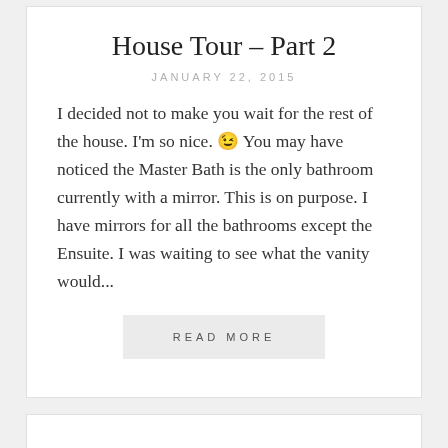House Tour – Part 2
JANUARY 22, 2015
I decided not to make you wait for the rest of the house. I'm so nice. 😉 You may have noticed the Master Bath is the only bathroom currently with a mirror. This is on purpose. I have mirrors for all the bathrooms except the Ensuite. I was waiting to see what the vanity would...
READ MORE